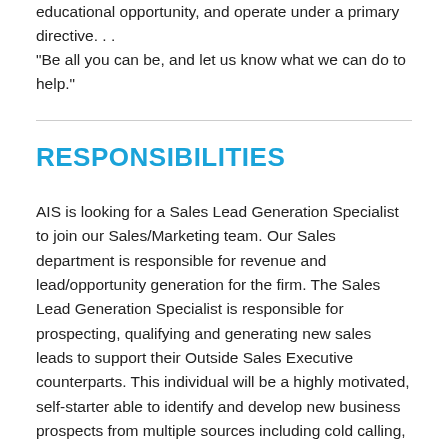educational opportunity, and operate under a primary directive. . . "Be all you can be, and let us know what we can do to help."
RESPONSIBILITIES
AIS is looking for a Sales Lead Generation Specialist to join our Sales/Marketing team. Our Sales department is responsible for revenue and lead/opportunity generation for the firm. The Sales Lead Generation Specialist is responsible for prospecting, qualifying and generating new sales leads to support their Outside Sales Executive counterparts. This individual will be a highly motivated, self-starter able to identify and develop new business prospects from multiple sources including cold calling, email blasts, inbound marketing leads, working prospect lists, discovery and individual research (LinkedIn, etc). Thus, we need a dynamic personality with a drive to reach decision makers and an individual whom takes pride